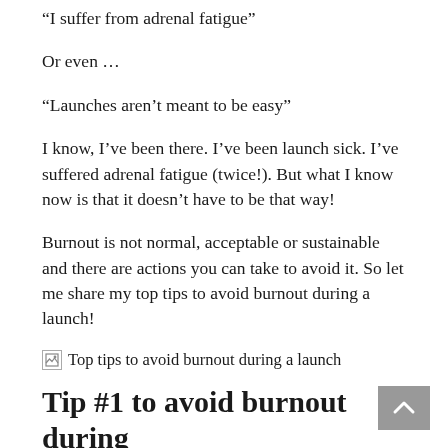“I suffer from adrenal fatigue”
Or even …
“Launches aren’t meant to be easy”
I know, I’ve been there. I’ve been launch sick. I’ve suffered adrenal fatigue (twice!). But what I know now is that it doesn’t have to be that way!
Burnout is not normal, acceptable or sustainable and there are actions you can take to avoid it. So let me share my top tips to avoid burnout during a launch!
[Figure (illustration): Broken image placeholder with alt text: Top tips to avoid burnout during a launch]
Tip #1 to avoid burnout during